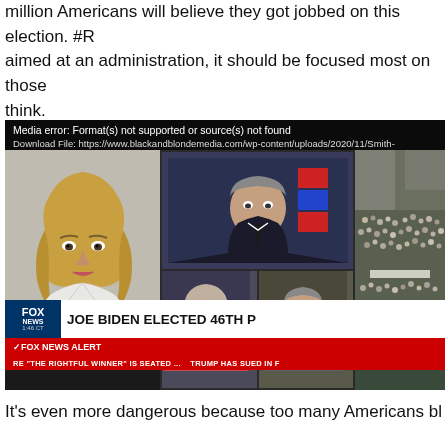million Americans will believe they got jobbed on this election. #R aimed at an administration, it should be focused most on those think.
[Figure (screenshot): Fox News broadcast screenshot showing anchor on left, multi-panel guests in center, aerial crowd shot on right. Lower third shows Fox News Alert: 'JOE BIDEN ELECTED 46TH P[RESIDENT]' with ticker 'RE "THE RIGHTFUL WINNER" IS SEATED ... TRUMP HAS SUED IN F[LORIDA]'. Media error overlay visible: 'Media error: Format(s) not supported or source(s) not found' with download link to blackandblondemedia.com.]
It's even more dangerous because too many Americans blindly b